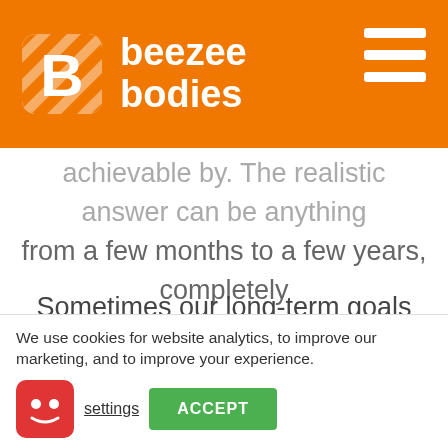beezee bodies
achievable by. The realistic answer can be anything from a few months to a few years, completely depending on where you are now and what your goals are.
Sometimes our long-term goals can feel difficult to achieve because they are so far away and the urgency of things happening right now can prevent us from prioritising those things we want for the future.
We use cookies for website analytics, to improve our marketing, and to improve your experience.
settings  ACCEPT